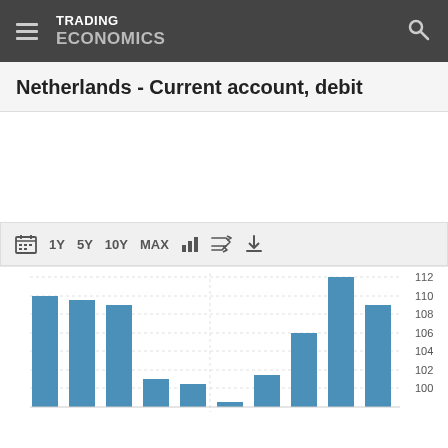TRADING ECONOMICS
Netherlands - Current account, debit
[Figure (bar-chart): Netherlands - Current account, debit]